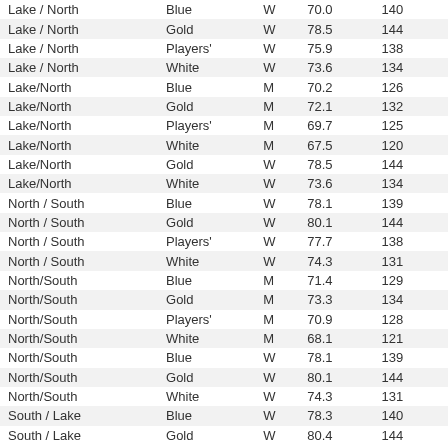| Lake / North | Blue | W | 70.0 | 140 |
| Lake / North | Gold | W | 78.5 | 144 |
| Lake / North | Players' | W | 75.9 | 138 |
| Lake / North | White | W | 73.6 | 134 |
| Lake/North | Blue | M | 70.2 | 126 |
| Lake/North | Gold | M | 72.1 | 132 |
| Lake/North | Players' | M | 69.7 | 125 |
| Lake/North | White | M | 67.5 | 120 |
| Lake/North | Gold | W | 78.5 | 144 |
| Lake/North | White | W | 73.6 | 134 |
| North / South | Blue | W | 78.1 | 139 |
| North / South | Gold | W | 80.1 | 144 |
| North / South | Players' | W | 77.7 | 138 |
| North / South | White | W | 74.3 | 131 |
| North/South | Blue | M | 71.4 | 129 |
| North/South | Gold | M | 73.3 | 134 |
| North/South | Players' | M | 70.9 | 128 |
| North/South | White | M | 68.1 | 121 |
| North/South | Blue | W | 78.1 | 139 |
| North/South | Gold | W | 80.1 | 144 |
| North/South | White | W | 74.3 | 131 |
| South / Lake | Blue | W | 78.3 | 140 |
| South / Lake | Gold | W | 80.4 | 144 |